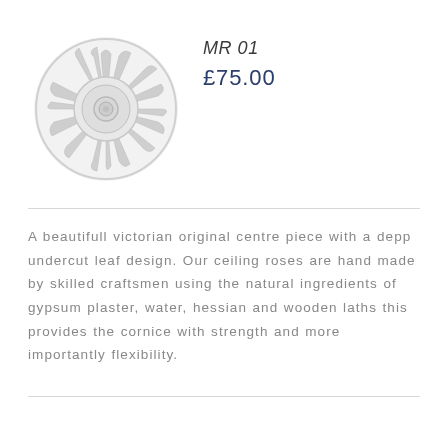[Figure (photo): Circular white plaster ceiling rose with radiating leaf/petal design and central boss, viewed from above]
MR 01
£75.00
A beautifull victorian original centre piece with a depp undercut leaf design. Our ceiling roses are hand made by skilled craftsmen using the natural ingredients of gypsum plaster, water, hessian and wooden laths this provides the cornice with strength and more importantly flexibility.